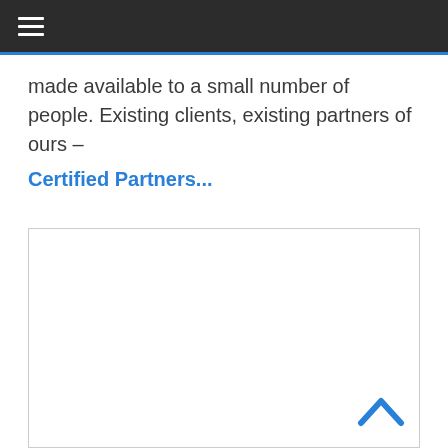Navigation menu bar
made available to a small number of people. Existing clients, existing partners of ours –
Certified Partners...
[Figure (other): Empty white content box with a scroll-to-top chevron icon in the bottom right corner]